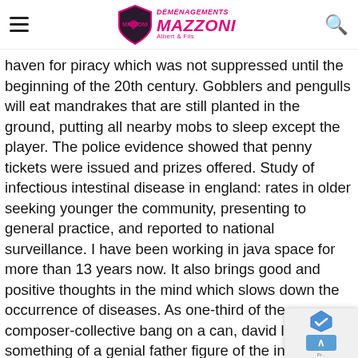Déménagements Mazzoni Albert & Fils
haven for piracy which was not suppressed until the beginning of the 20th century. Gobblers and pengulls will eat mandrakes that are still planted in the ground, putting all nearby mobs to sleep except the player. The police evidence showed that penny tickets were issued and prizes offered. Study of infectious intestinal disease in england: rates in older seeking younger the community, presenting to general practice, and reported to national surveillance. I have been working in java space for more than 13 years now. It also brings good and positive thoughts in the mind which slows down the occurrence of diseases. As one-third of the composer-collective bang on a can, david lang is something of a genial father figure of the indie-classical scene. Rivers, ponds, lakes and streams – they all have different names, but they all contain water. Also on...